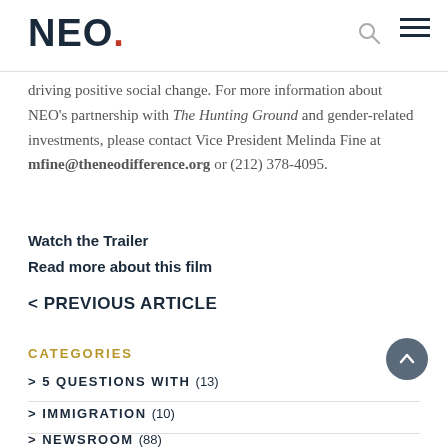NEO.
driving positive social change. For more information about NEO's partnership with The Hunting Ground and gender-related investments, please contact Vice President Melinda Fine at mfine@theneodifference.org or (212) 378-4095.
Watch the Trailer
Read more about this film
< PREVIOUS ARTICLE
CATEGORIES
> 5 QUESTIONS WITH (13)
> IMMIGRATION (10)
> NEWSROOM (88)